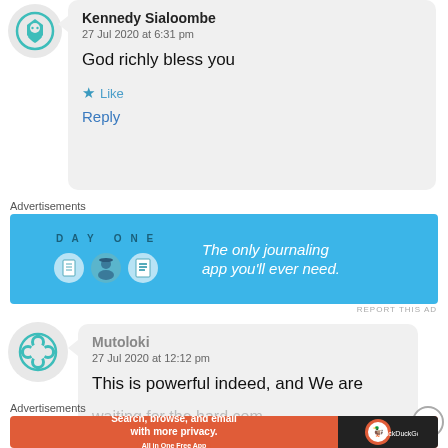[Figure (illustration): Teal decorative avatar icon for Kennedy Sialoombe]
Kennedy Sialoombe
27 Jul 2020 at 6:31 pm

God richly bless you

★ Like

Reply
Advertisements
[Figure (illustration): Day One journaling app advertisement banner with blue background and icons]
[Figure (illustration): Teal decorative avatar icon for Mutoloki]
Mutoloki
27 Jul 2020 at 12:12 pm

This is powerful indeed, and We are
waiting for the hard com...
Advertisements
[Figure (illustration): DuckDuckGo advertisement banner: Search, browse, and email with more privacy. All in One Free App]